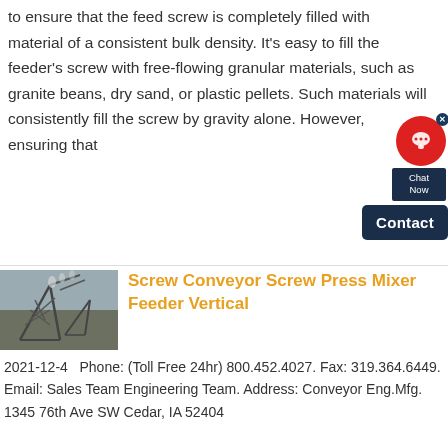to ensure that the feed screw is completely filled with material of a consistent bulk density. It's easy to fill the feeder's screw with free-flowing granular materials, such as granite beans, dry sand, or plastic pellets. Such materials will consistently fill the screw by gravity alone. However, ensuring that
[Figure (screenshot): Chat widget overlay with red circle chat icon, X close button, 'Chat Now' label, and dark navy 'Contact' button]
[Figure (photo): Industrial conveyor or screw equipment installation photograph showing metal framework structure outdoors]
Screw Conveyor Screw Press Mixer Feeder Vertical
2021-12-4   Phone: (Toll Free 24hr) 800.452.4027. Fax: 319.364.6449. Email: Sales Team Engineering Team. Address: Conveyor Eng.Mfg. 1345 76th Ave SW Cedar, IA 52404